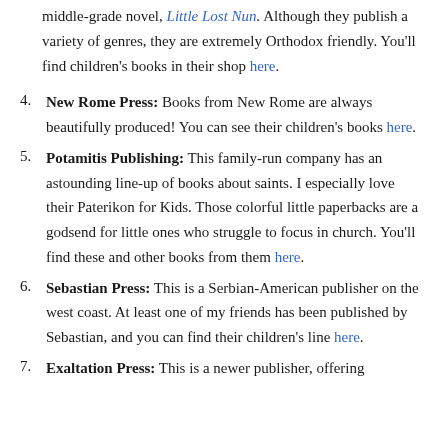middle-grade novel, Little Lost Nun. Although they publish a variety of genres, they are extremely Orthodox friendly. You'll find children's books in their shop here.
4. New Rome Press: Books from New Rome are always beautifully produced! You can see their children's books here.
5. Potamitis Publishing: This family-run company has an astounding line-up of books about saints. I especially love their Paterikon for Kids. Those colorful little paperbacks are a godsend for little ones who struggle to focus in church. You'll find these and other books from them here.
6. Sebastian Press: This is a Serbian-American publisher on the west coast. At least one of my friends has been published by Sebastian, and you can find their children's line here.
7. Exaltation Press: This is a newer publisher, offering